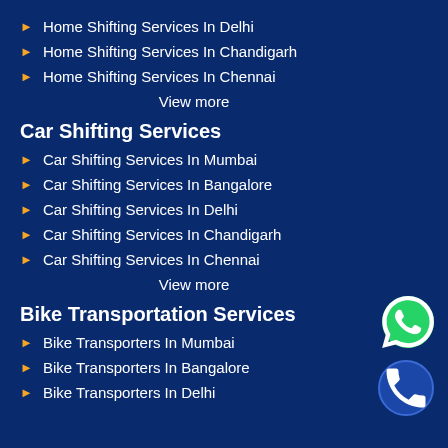Home Shifting Services In Delhi
Home Shifting Services In Chandigarh
Home Shifting Services In Chennai
View more
Car Shifting Services
Car Shifting Services In Mumbai
Car Shifting Services In Bangalore
Car Shifting Services In Delhi
Car Shifting Services In Chandigarh
Car Shifting Services In Chennai
View more
Bike Transportation Services
Bike Transporters In Mumbai
Bike Transporters In Bangalore
Bike Transporters In Delhi